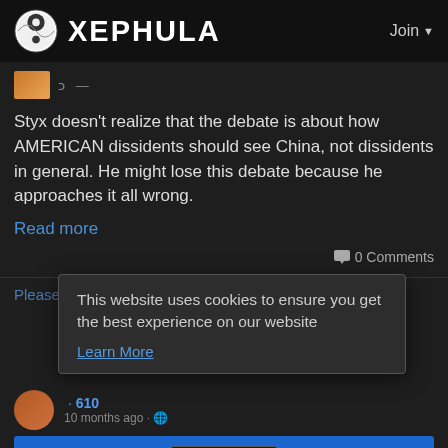XEPHULA  Join
Styx doesn't realize that the debate is about how AMERICAN dissidents should see China, not dissidents in general. He might lose this debate because he approaches it all wrong.
Read more
0 Comments
Please join us to like, share and comment!
This website uses cookies to ensure you get the best experience on our website
Learn More
· 610  10 months ago · 🌐
Totalitarianism for the purposes of advancing your nation will backfire once it alienates enough people